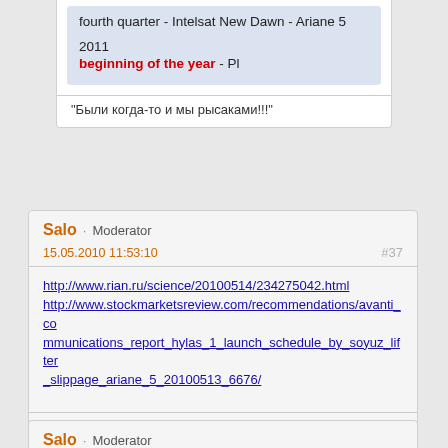fourth quarter - Intelsat New Dawn - Ariane 5
2011
beginning of the year - Pl
"Были когда-то и мы рысаками!!!"
Salo · Moderator
15.05.2010 11:53:10
#37
http://www.rian.ru/science/20100514/234275042.html
http://www.stockmarketsreview.com/recommendations/avanti_communications_report_hylas_1_launch_schedule_by_soyuz_lifter_slippage_ariane_5_20100513_6676/
"Были когда-то и мы рысаками!!!"
Salo · Moderator